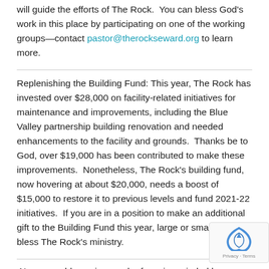will guide the efforts of The Rock.  You can bless God's work in this place by participating on one of the working groups—contact pastor@therockseward.org to learn more.
Replenishing the Building Fund: This year, The Rock has invested over $28,000 on facility-related initiatives for maintenance and improvements, including the Blue Valley partnership building renovation and needed enhancements to the facility and grounds.  Thanks be to God, over $19,000 has been contributed to make these improvements.  Nonetheless, The Rock's building fund, now hovering at about $20,000, needs a boost of $15,000 to restore it to previous levels and fund 2021-22 initiatives.  If you are in a position to make an additional gift to the Building Fund this year, large or small, it will bless The Rock's ministry.
New snow blower in search of service-minded humans:  We new, powerful snow blower to clear sidewalks this winter (as well as